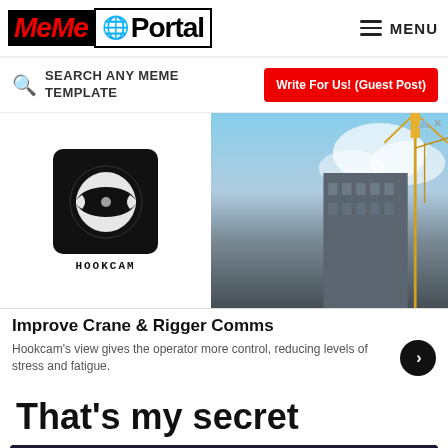MeMe Portal — MENU
SEARCH ANY MEME TEMPLATE
Write For Us! (Guest Post)
[Figure (other): Advertisement banner for HookCam showing logo on left and crane construction photo on right, with text: Improve Crane & Rigger Comms. Hookcam's view gives the operator more control, reducing levels of stress and fatigue.]
That's my secret
[Figure (photo): Partial dark movie scene photo, appears to be from a Marvel film showing a character in shadow]